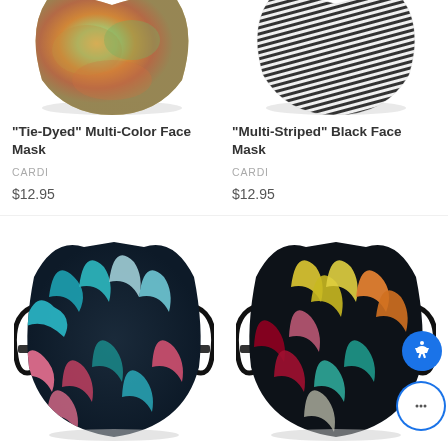[Figure (photo): Partial top view of a tie-dyed multi-color face mask on white background]
[Figure (photo): Partial top view of a multi-striped black and white face mask on white background]
"Tie-Dyed" Multi-Color Face Mask
CARDI
$12.95
"Multi-Striped" Black Face Mask
CARDI
$12.95
[Figure (photo): Dark navy blue tropical leaf pattern face mask with black adjustable ear loops]
[Figure (photo): Black background colorful tropical leaf pattern face mask with black adjustable ear loops]